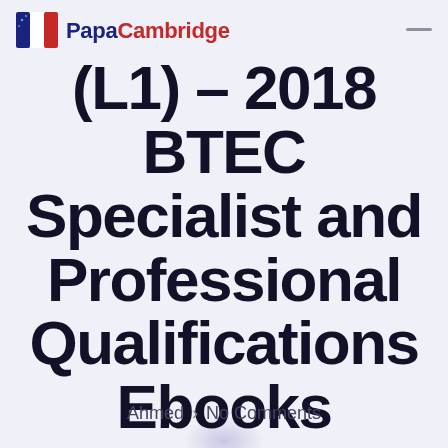PapaCambridge
(L1) – 2018 BTEC Specialist and Professional Qualifications Ebooks
Ahmed > No Comments